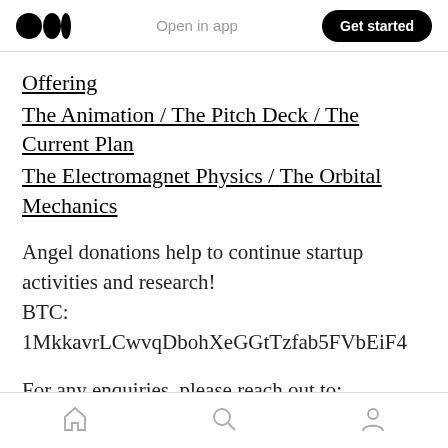Open in app | Get started
Offering
The Animation / The Pitch Deck / The Current Plan
The Electromagnet Physics / The Orbital Mechanics
Angel donations help to continue startup activities and research!
BTC: 1MkkavrLCwvqDbohXeGGtTzfab5FVbEiF4
For any enquiries, please reach out to:
contact@h-industries.io
[home icon] [search icon] [profile icon]